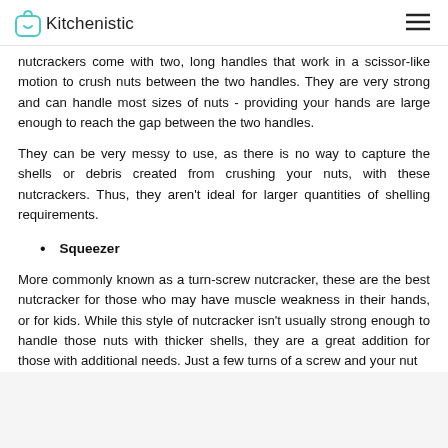Kitchenistic
nutcrackers come with two, long handles that work in a scissor-like motion to crush nuts between the two handles. They are very strong and can handle most sizes of nuts - providing your hands are large enough to reach the gap between the two handles.
They can be very messy to use, as there is no way to capture the shells or debris created from crushing your nuts, with these nutcrackers. Thus, they aren't ideal for larger quantities of shelling requirements.
Squeezer
More commonly known as a turn-screw nutcracker, these are the best nutcracker for those who may have muscle weakness in their hands, or for kids. While this style of nutcracker isn't usually strong enough to handle those nuts with thicker shells, they are a great addition for those with additional needs. Just a few turns of a screw and your nut